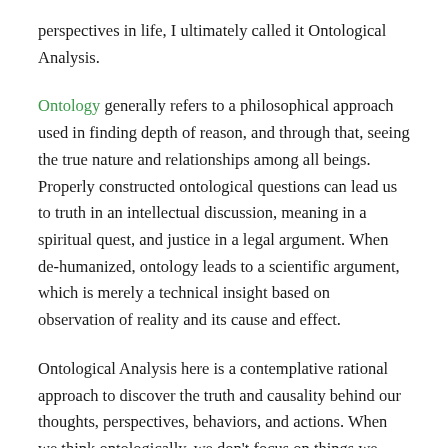perspectives in life, I ultimately called it Ontological Analysis.
Ontology generally refers to a philosophical approach used in finding depth of reason, and through that, seeing the true nature and relationships among all beings. Properly constructed ontological questions can lead us to truth in an intellectual discussion, meaning in a spiritual quest, and justice in a legal argument. When de-humanized, ontology leads to a scientific argument, which is merely a technical insight based on observation of reality and its cause and effect.
Ontological Analysis here is a contemplative rational approach to discover the truth and causality behind our thoughts, perspectives, behaviors, and actions. When we think ontologically, we don't focus on things we want or emotions we feel, but rather on exactly “why” we want